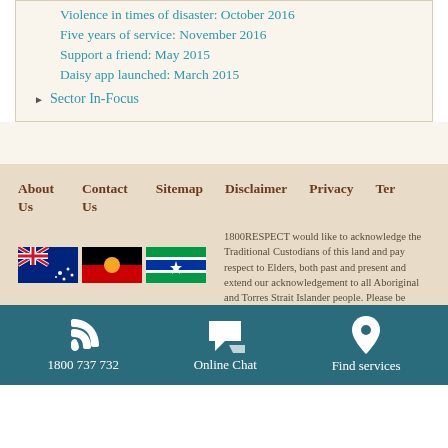Violence in times of disaster: October 2016
Five years of service: November 2016
Support a friend: May 2015
Daisy app launched: March 2015
Sector In-Focus
About Us   Contact Us   Sitemap   Disclaimer   Privacy   Ter
1800RESPECT would like to acknowledge the Traditional Custodians of this land and pay respect to Elders, both past and present and extend our acknowledgement to all Aboriginal and Torres Strait Islander people. Please be
1800 737 732   Online Chat   Find services